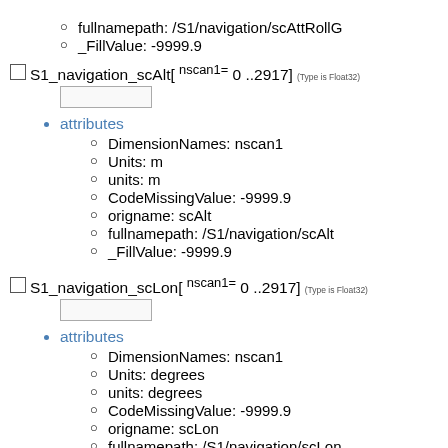fullnamepath: /S1/navigation/scAttRollG
_FillValue: -9999.9
S1_navigation_scAlt[ nscan1= 0 ..2917] (Type is Float32)
attributes
DimensionNames: nscan1
Units: m
units: m
CodeMissingValue: -9999.9
origname: scAlt
fullnamepath: /S1/navigation/scAlt
_FillValue: -9999.9
S1_navigation_scLon[ nscan1= 0 ..2917] (Type is Float32)
attributes
DimensionNames: nscan1
Units: degrees
units: degrees
CodeMissingValue: -9999.9
origname: scLon
fullnamepath: /S1/navigation/scLon